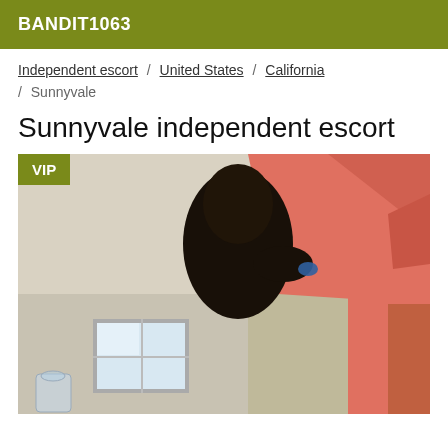BANDIT1063
Independent escort / United States / California / Sunnyvale
Sunnyvale independent escort
[Figure (photo): A photo with a VIP badge in the upper left corner, showing an interior room scene with pink/salmon bedding visible in the upper right, a window in the lower left area, and a dark silhouetted figure in the center foreground.]